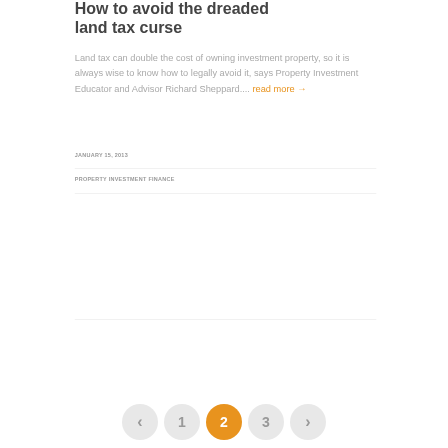How to avoid the dreaded land tax curse
Land tax can double the cost of owning investment property, so it is always wise to know how to legally avoid it, says Property Investment Educator and Advisor Richard Sheppard.... read more →
JANUARY 15, 2013
PROPERTY INVESTMENT FINANCE